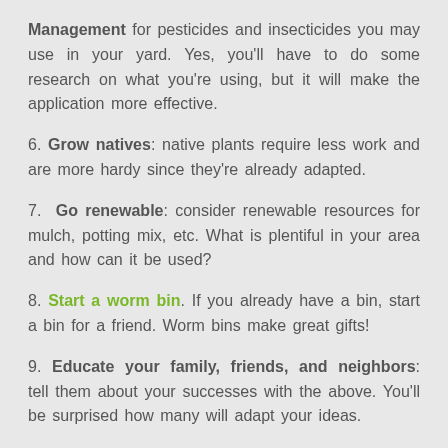Management for pesticides and insecticides you may use in your yard. Yes, you'll have to do some research on what you're using, but it will make the application more effective.
6. Grow natives: native plants require less work and are more hardy since they're already adapted.
7. Go renewable: consider renewable resources for mulch, potting mix, etc. What is plentiful in your area and how can it be used?
8. Start a worm bin. If you already have a bin, start a bin for a friend. Worm bins make great gifts!
9. Educate your family, friends, and neighbors: tell them about your successes with the above. You'll be surprised how many will adapt your ideas.
Cheers,